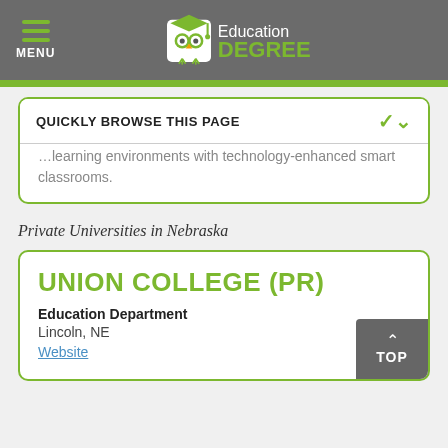MENU | Education DEGREE
QUICKLY BROWSE THIS PAGE
learning environments with technology-enhanced smart classrooms.
Private Universities in Nebraska
UNION COLLEGE (PR)
Education Department
Lincoln, NE
Website